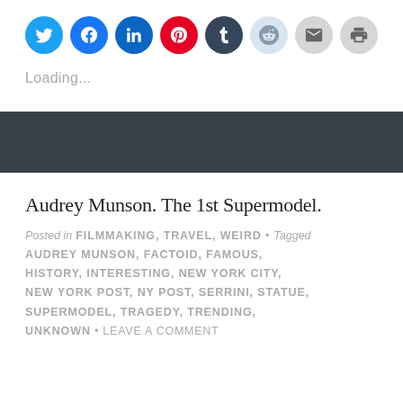[Figure (infographic): Row of social sharing icon buttons: Twitter (blue), Facebook (blue), LinkedIn (navy), Pinterest (red), Tumblr (dark navy), Reddit (light blue), Email (grey), Print (grey)]
Loading...
Audrey Munson. The 1st Supermodel.
Posted in FILMMAKING, TRAVEL, WEIRD • Tagged AUDREY MUNSON, FACTOID, FAMOUS, HISTORY, INTERESTING, NEW YORK CITY, NEW YORK POST, NY POST, SERRINI, STATUE, SUPERMODEL, TRAGEDY, TRENDING, UNKNOWN • LEAVE A COMMENT